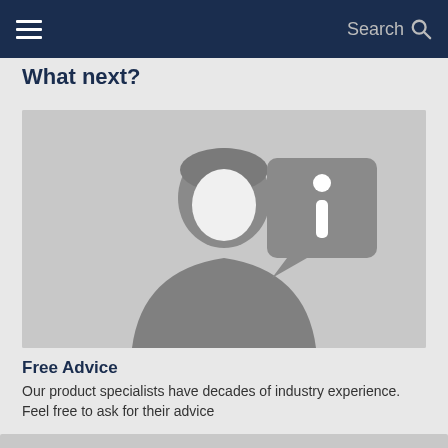Search
What next?
[Figure (illustration): A grey silhouette of a person with an information speech bubble icon containing a stylized italic 'i', shown on a light grey background.]
Free Advice
Our product specialists have decades of industry experience. Feel free to ask for their advice